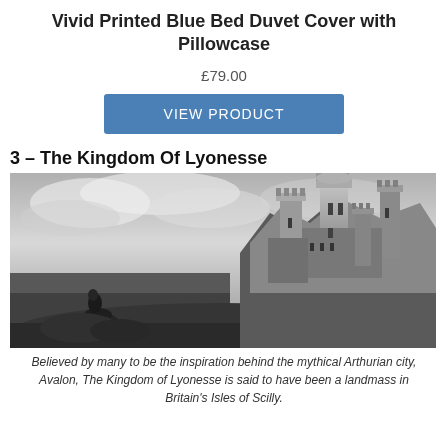Vivid Printed Blue Bed Duvet Cover with Pillowcase
£79.00
VIEW PRODUCT
3 – The Kingdom Of Lyonesse
[Figure (photo): Black and white engraving of a robed figure on horseback looking up at a dramatic gothic castle on rocky cliffs, reminiscent of medieval Arthurian legend illustrations.]
Believed by many to be the inspiration behind the mythical Arthurian city, Avalon, The Kingdom of Lyonesse is said to have been a landmass in Britain's Isles of Scilly.